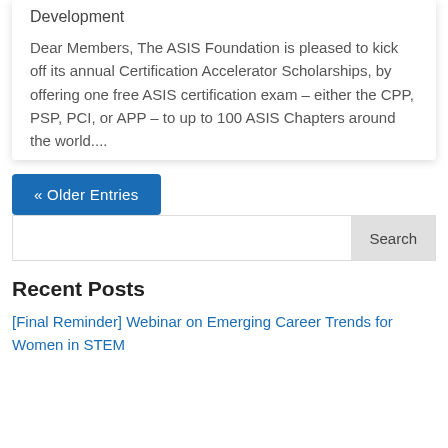Development
Dear Members, The ASIS Foundation is pleased to kick off its annual Certification Accelerator Scholarships, by offering one free ASIS certification exam – either the CPP, PSP, PCI, or APP – to up to 100 ASIS Chapters around the world....
« Older Entries
Search
Recent Posts
[Final Reminder] Webinar on Emerging Career Trends for Women in STEM